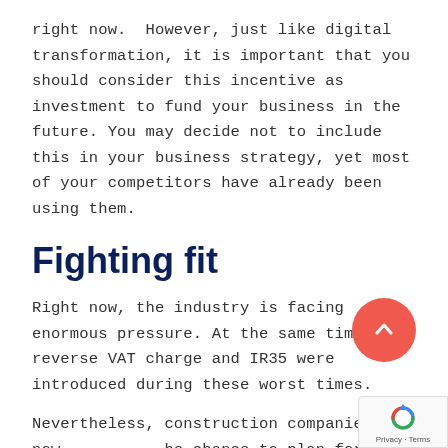right now.  However, just like digital transformation, it is important that you should consider this incentive as investment to fund your business in the future. You may decide not to include this in your business strategy, yet most of your competitors have already been using them.
Fighting fit
Right now, the industry is facing enormous pressure. At the same time, the reverse VAT charge and IR35 were introduced during these worst times.
Nevertheless, construction companies are now the chance to plan for their future. Consequently, R&D tax relief could provide them with sufficient funding should they choose to adapt to digital transformation.